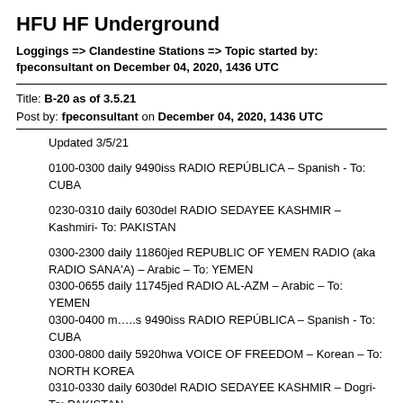HFU HF Underground
Loggings => Clandestine Stations => Topic started by: fpeconsultant on December 04, 2020, 1436 UTC
Title: B-20 as of 3.5.21
Post by: fpeconsultant on December 04, 2020, 1436 UTC
Updated 3/5/21
0100-0300 daily 9490iss RADIO REPÚBLICA – Spanish - To: CUBA
0230-0310 daily 6030del RADIO SEDAYEE KASHMIR – Kashmiri- To: PAKISTAN
0300-2300 daily 11860jed REPUBLIC OF YEMEN RADIO (aka RADIO SANA'A) – Arabic – To: YEMEN
0300-0655 daily 11745jed RADIO AL-AZM – Arabic – To: YEMEN
0300-0400 m…..s 9490iss RADIO REPÚBLICA – Spanish - To: CUBA
0300-0800 daily 5920hwa VOICE OF FREEDOM – Korean – To: NORTH KOREA
0310-0330 daily 6030del RADIO SEDAYEE KASHMIR – Dogri- To: PAKISTAN
0329-0427 daily 6005mdc/7315iss - RADIO TAMAZUJ - Arabic